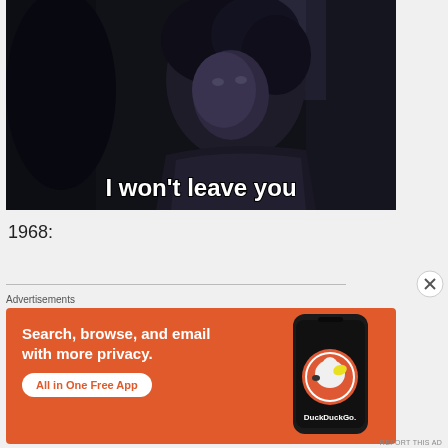[Figure (screenshot): Dark cinematic still of a curly-haired young person looking up, with subtitle text 'I won't leave you' at the bottom of the frame]
1968:
Advertisements
[Figure (screenshot): DuckDuckGo advertisement banner with orange background. Text reads: 'Search, browse, and email with more privacy. All in One Free App'. Shows a phone with DuckDuckGo logo.]